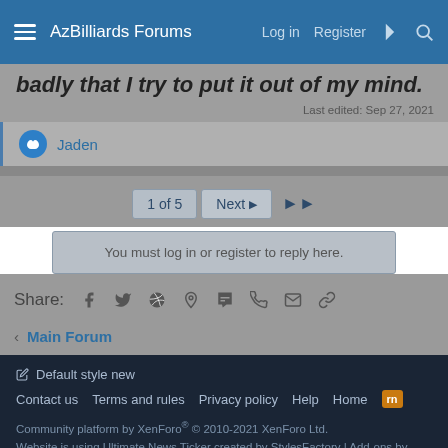AzBilliards Forums | Log in | Register
badly that I try to put it out of my mind.
Last edited: Sep 27, 2021
Jaden
1 of 5  Next  ▶▶
You must log in or register to reply here.
Share:
< Main Forum
Default style new
Contact us  Terms and rules  Privacy policy  Help  Home
Community platform by XenForo® © 2010-2021 XenForo Ltd.
Website is using Ultimate News Ticker created by StylesFactory | Add-ons by ThemeHouse